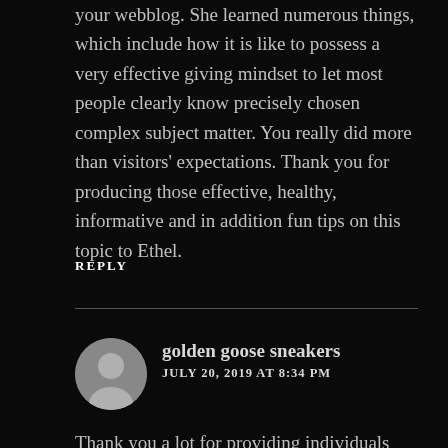your webblog. She learned numerous things, which include how it is like to possess a very effective giving mindset to let most people clearly know precisely chosen complex subject matter. You really did more than visitors' expectations. Thank you for producing those effective, healthy, informative and in addition fun tips on this topic to Ethel.
REPLY
golden goose sneakers
JULY 20, 2019 AT 8:34 PM
Thank you a lot for providing individuals with an extremely wonderful chance to read in detail from here. It is always so brilliant and also stuffed with a good time for me and my office mates to search your site at least thrice every week to study the fresh guides you have